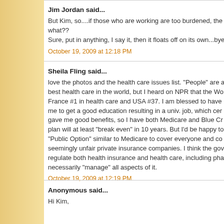Jim Jordan said...
But Kim, so....if those who are working are too burdened, the what??
Sure, put in anything, I say it, then it floats off on its own...bye
October 19, 2009 at 12:18 PM
Sheila Fling said...
love the photos and the health care issues list. "People" are a best health care in the world, but I heard on NPR that the Wo France #1 in health care and USA #37. I am blessed to have me to get a good education resulting in a univ. job, which cer gave me good benefits, so I have both Medicare and Blue Cr plan will at least "break even" in 10 years. But I'd be happy to "Public Option" similar to Medicare to cover everyone and co seemingly unfair private insurance companies. I think the gov regulate both health insurance and health care, including pha necessarily "manage" all aspects of it.
October 19, 2009 at 12:19 PM
Anonymous said...
Hi Kim,